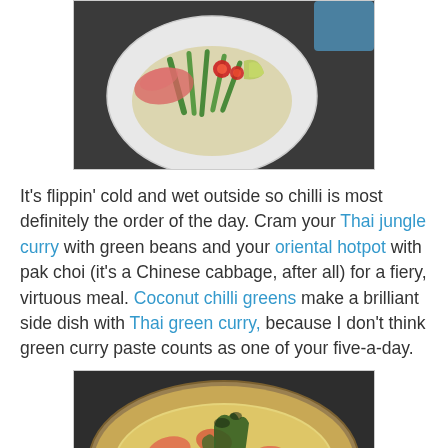[Figure (photo): A white plate with noodles, green vegetables, red chilli slices, and pink/red garnish on a dark background. A blue container is partially visible at top right.]
It's flippin' cold and wet outside so chilli is most definitely the order of the day. Cram your Thai jungle curry with green beans and your oriental hotpot with pak choi (it's a Chinese cabbage, after all) for a fiery, virtuous meal. Coconut chilli greens make a brilliant side dish with Thai green curry, because I don't think green curry paste counts as one of your five-a-day.
[Figure (photo): A close-up of a quiche or tart with salmon pieces, broccoli/greens, and a golden eggy filling in a pastry crust in a baking tin.]